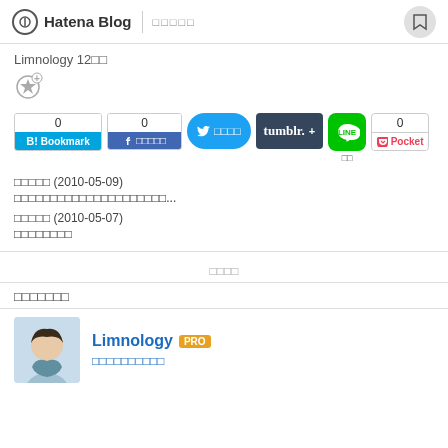Hatena Blog | □□□□□
Limnology 12□□
[Figure (other): Star/bookmark icon with plus button]
[Figure (screenshot): Social share buttons row: B!Bookmark count 0, Facebook share count 0, Twitter share, Tumblr+, LINE, Pocket count 0]
□□□□□ (2010-05-09)
□□□□□□□□□□□□□□□□□□□□□...
□□□□□ (2010-05-07)
□□□□□□□□
□□□□
□□□□□□□
Limnology PRO
□□□□□□□□□□